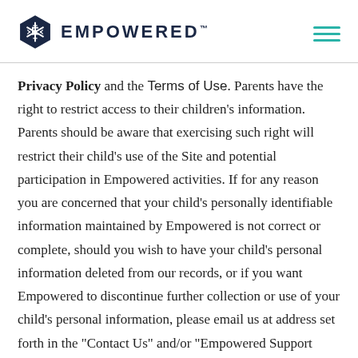EMPOWERED
Privacy Policy and the Terms of Use. Parents have the right to restrict access to their children’s information. Parents should be aware that exercising such right will restrict their child’s use of the Site and potential participation in Empowered activities. If for any reason you are concerned that your child’s personally identifiable information maintained by Empowered is not correct or complete, should you wish to have your child’s personal information deleted from our records, or if you want Empowered to discontinue further collection or use of your child’s personal information, please email us at address set forth in the “Contact Us” and/or “Empowered Support section.